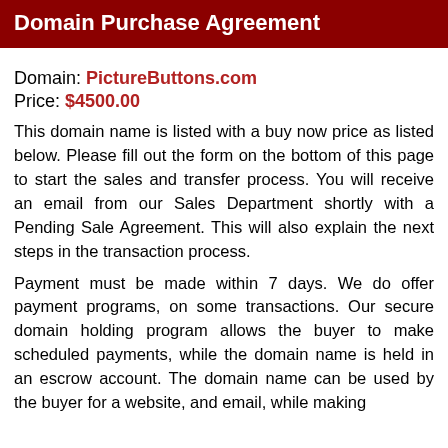Domain Purchase Agreement
Domain: PictureButtons.com
Price: $4500.00
This domain name is listed with a buy now price as listed below. Please fill out the form on the bottom of this page to start the sales and transfer process. You will receive an email from our Sales Department shortly with a Pending Sale Agreement. This will also explain the next steps in the transaction process.
Payment must be made within 7 days. We do offer payment programs, on some transactions. Our secure domain holding program allows the buyer to make scheduled payments, while the domain name is held in an escrow account. The domain name can be used by the buyer for a website, and email, while making